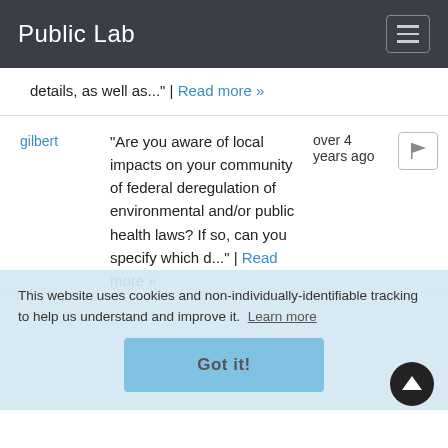Public Lab
details, as well as..." | Read more »
gilbert
"Are you aware of local impacts on your community of federal deregulation of environmental and/or public health laws? If so, can you specify which d..." | Read more »
over 4 years ago
This website uses cookies and non-individually-identifiable tracking to help us understand and improve it. Learn more
Got it!